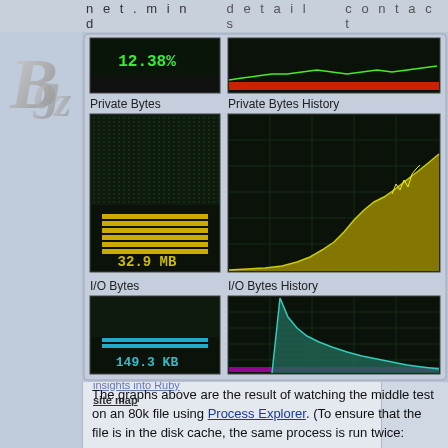net.mind   details   contact
[Figure (logo): Bgz stylized logo in silver/grey on left sidebar]
Angle between three points (2D)
Animating with Ease In/Out
Calculating the area of an SVG Path or Polygon
Convert SVG Path to All-Absolute Commands
Count Photoshop Layers
Damped Spring Oscillations in JavaScript
Death to hasOwnProperty
recent
filename without extension in Ruby
index
insights into Ruby
site map
[Figure (screenshot): Net.mind process monitor showing Private Bytes gauge at 32.9 MB with dot-matrix display and yellow bar fill, Private Bytes History chart with yellow area graph rising over time, I/O Bytes gauge at 149.3 KB with cyan bar fill, and I/O Bytes History chart with cyan spike decaying over time. Grid overlays on dark background.]
The graphs above are the result of watching the middle test on an 80k file using Process Explorer. (To ensure that the file is in the disk cache, the same process is run twice: